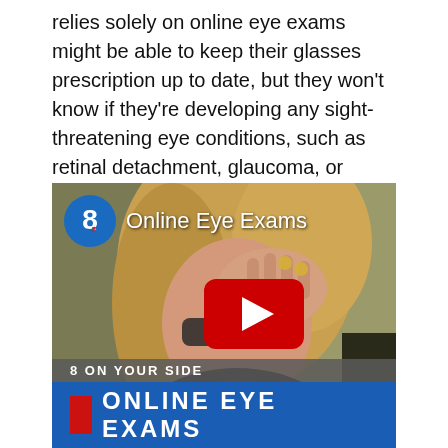relies solely on online eye exams might be able to keep their glasses prescription up to date, but they won't know if they're developing any sight-threatening eye conditions, such as retinal detachment, glaucoma, or macular degeneration.
[Figure (screenshot): Embedded video thumbnail from NBC News Channel 8 showing a woman with glasses covering one eye with her hand wearing a watch. The video is titled 'Online Eye Exams'. A YouTube play button is visible in the center. The lower third shows '8 ON YOUR SIDE' and 'ONLINE EYE EXAMS'.]